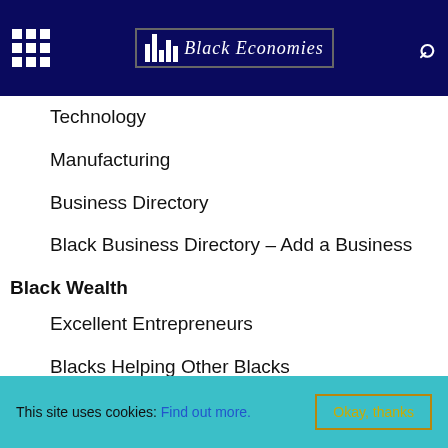Black Economics
Technology
Manufacturing
Business Directory
Black Business Directory – Add a Business
Black Wealth
Excellent Entrepreneurs
Blacks Helping Other Blacks
Philanthropy
Good News
Be Informed
Black Poverty
Issues
This site uses cookies: Find out more. Okay, thanks